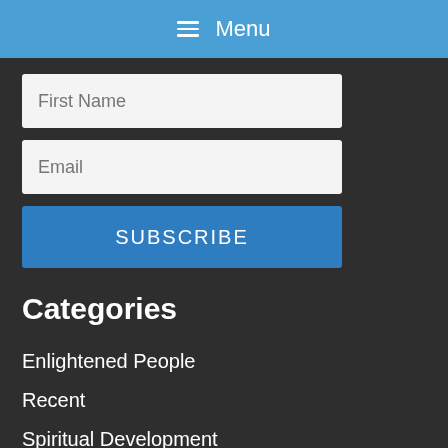Menu
First Name
Email
SUBSCRIBE
Categories
Enlightened People
Recent
Spiritual Development
Spiritual Practices